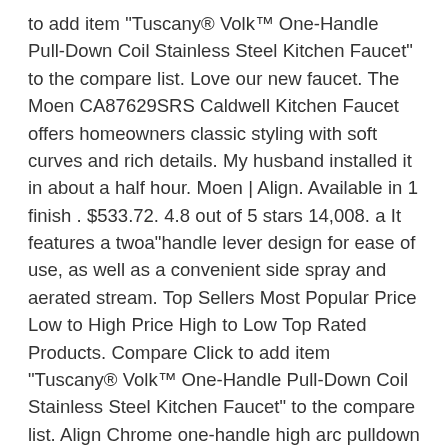to add item "Tuscany® Volk™ One-Handle Pull-Down Coil Stainless Steel Kitchen Faucet" to the compare list. Love our new faucet. The Moen CA87629SRS Caldwell Kitchen Faucet offers homeowners classic styling with soft curves and rich details. My husband installed it in about a half hour. Moen | Align. Available in 1 finish . $533.72. 4.8 out of 5 stars 14,008. a It features a twoa"handle lever design for ease of use, as well as a convenient side spray and aerated stream. Top Sellers Most Popular Price Low to High Price High to Low Top Rated Products. Compare Click to add item "Tuscany® Volk™ One-Handle Pull-Down Coil Stainless Steel Kitchen Faucet" to the compare list. Align Chrome one-handle high arc pulldown kitchen faucet MOEN. for pricing and availability . It mounts with a deck plate, accommodating four-hole installation options, and is available in a Spot Resist Stainless finish. Sort by: Best Selling. Black. Moen G201962BQ. Finish: Choose Finish - 3 In Stock. Shop for the Moen G201964Q Brushed/Satin Stainless 2000 Series 25" Drop In Single Basin